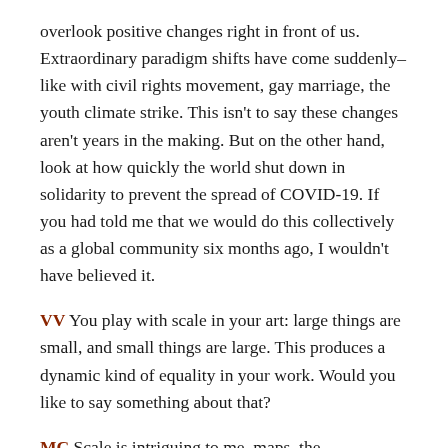overlook positive changes right in front of us. Extraordinary paradigm shifts have come suddenly–like with civil rights movement, gay marriage, the youth climate strike. This isn't to say these changes aren't years in the making. But on the other hand, look at how quickly the world shut down in solidarity to prevent the spread of COVID-19. If you had told me that we would do this collectively as a global community six months ago, I wouldn't have believed it.
VV You play with scale in your art: large things are small, and small things are large. This produces a dynamic kind of equality in your work. Would you like to say something about that?
MC Scale is intriguing to me–maps, the microbiome and macro universe. The African American painter Mark Bradford said that his maps depicting communities of